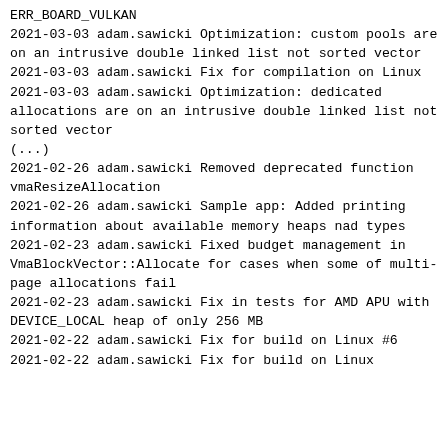ERR_BOARD_VULKAN
2021-03-03 adam.sawicki Optimization: custom pools are on an intrusive double linked list not sorted vector
2021-03-03 adam.sawicki Fix for compilation on Linux
2021-03-03 adam.sawicki Optimization: dedicated allocations are on an intrusive double linked list not sorted vector
(...)
2021-02-26 adam.sawicki Removed deprecated function vmaResizeAllocation
2021-02-26 adam.sawicki Sample app: Added printing information about available memory heaps nad types
2021-02-23 adam.sawicki Fixed budget management in VmaBlockVector::Allocate for cases when some of multi-page allocations fail
2021-02-23 adam.sawicki Fix in tests for AMD APU with DEVICE_LOCAL heap of only 256 MB
2021-02-22 adam.sawicki Fix for build on Linux #6
2021-02-22 adam.sawicki Fix for build on Linux